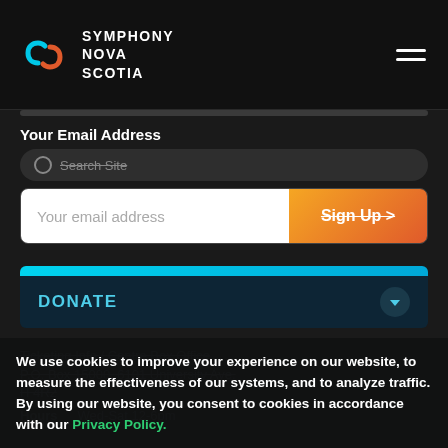SYMPHONY NOVA SCOTIA
Your Email Address
Search Site
Your email address
Sign Up >
DONATE
We use cookies to improve your experience on our website, to measure the effectiveness of our systems, and to analyze traffic. By using our website, you consent to cookies in accordance with our Privacy Policy.
I AGREE
Ticketing Info / Centre Box Office
P.O. Box 15000, 6101 University Ave.
H 4R2
Hours   Wed-Sat 12-6pm